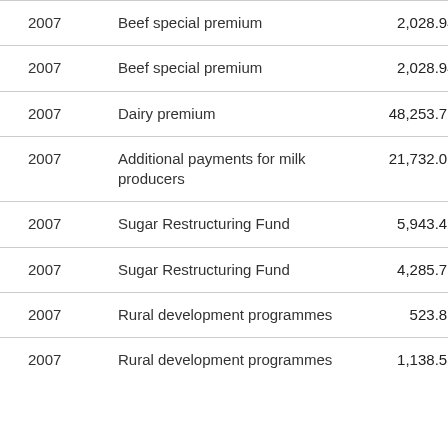| Year | Description | Amount |
| --- | --- | --- |
| 2007 | Beef special premium | 2,028.94 € |
| 2007 | Beef special premium | 2,028.94 € |
| 2007 | Dairy premium | 48,253.72 € |
| 2007 | Additional payments for milk producers | 21,732.06 € |
| 2007 | Sugar Restructuring Fund | 5,943.42 € |
| 2007 | Sugar Restructuring Fund | 4,285.72 € |
| 2007 | Rural development programmes | 523.85 € |
| 2007 | Rural development programmes | 1,138.58 € |